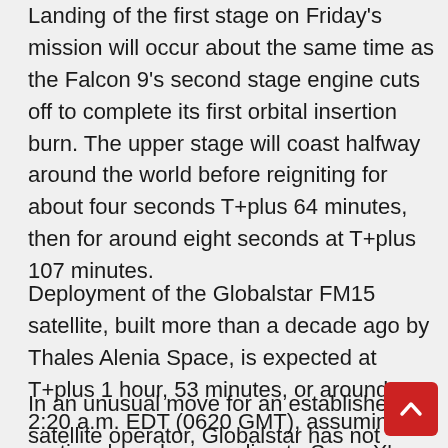Landing of the first stage on Friday's mission will occur about the same time as the Falcon 9's second stage engine cuts off to complete its first orbital insertion burn. The upper stage will coast halfway around the world before reigniting for about four seconds T+plus 64 minutes, then for around eight seconds at T+plus 107 minutes.
Deployment of the Globalstar FM15 satellite, built more than a decade ago by Thales Alenia Space, is expected at T+plus 1 hour, 53 minutes, or around 2:20 a.m. EDT (0620 GMT), assuming an on-time launch, according to SpaceX's mission timeline.
In an unusual move for an established satellite operator, Globalstar has not acknowledged any